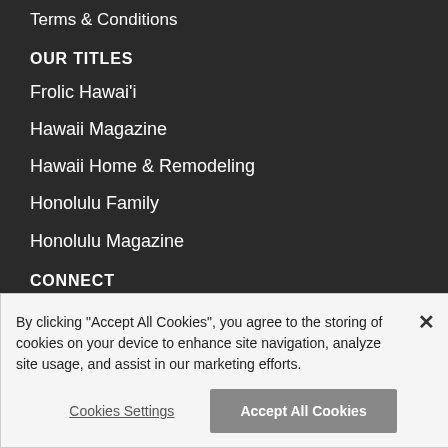Terms & Conditions
OUR TITLES
Frolic Hawai'i
Hawaii Magazine
Hawaii Home & Remodeling
Honolulu Family
Honolulu Magazine
CONNECT
Facebook
Twitter
LinkedIn
By clicking "Accept All Cookies", you agree to the storing of cookies on your device to enhance site navigation, analyze site usage, and assist in our marketing efforts.
Cookies Settings
Accept All Cookies